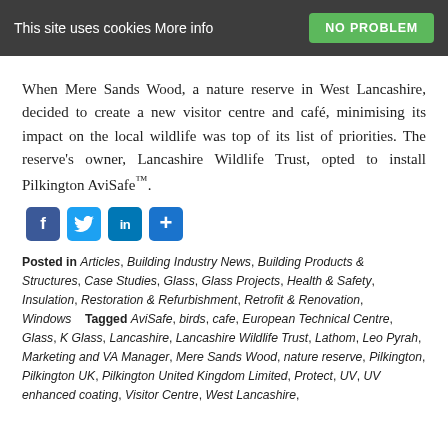This site uses cookies More info | NO PROBLEM
When Mere Sands Wood, a nature reserve in West Lancashire, decided to create a new visitor centre and café, minimising its impact on the local wildlife was top of its list of priorities. The reserve's owner, Lancashire Wildlife Trust, opted to install Pilkington AviSafe™.
[Figure (infographic): Social sharing icons: Facebook, Twitter, LinkedIn, Share (plus)]
Posted in Articles, Building Industry News, Building Products & Structures, Case Studies, Glass, Glass Projects, Health & Safety, Insulation, Restoration & Refurbishment, Retrofit & Renovation, Windows   Tagged AviSafe, birds, cafe, European Technical Centre, Glass, K Glass, Lancashire, Lancashire Wildlife Trust, Lathom, Leo Pyrah, Marketing and VA Manager, Mere Sands Wood, nature reserve, Pilkington, Pilkington UK, Pilkington United Kingdom Limited, Protect, UV, UV enhanced coating, Visitor Centre, West Lancashire,